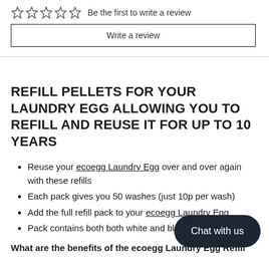[Figure (other): Five empty star rating icons in a row]
Be the first to write a review
Write a review
REFILL PELLETS FOR YOUR LAUNDRY EGG ALLOWING YOU TO REFILL AND REUSE IT FOR UP TO 10 YEARS
Reuse your ecoegg Laundry Egg over and over again with these refills
Each pack gives you 50 washes (just 10p per wash)
Add the full refill pack to your ecoegg Laundry Egg
Pack contains both both white and black pellets
What are the benefits of the ecoegg Laundry Egg Refill
Chat with us